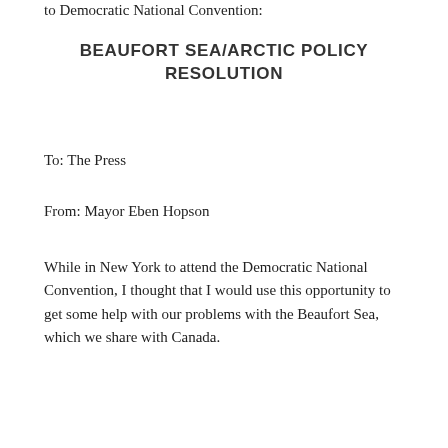to Democratic National Convention:
BEAUFORT SEA/ARCTIC POLICY RESOLUTION
To: The Press
From: Mayor Eben Hopson
While in New York to attend the Democratic National Convention, I thought that I would use this opportunity to get some help with our problems with the Beaufort Sea, which we share with Canada.